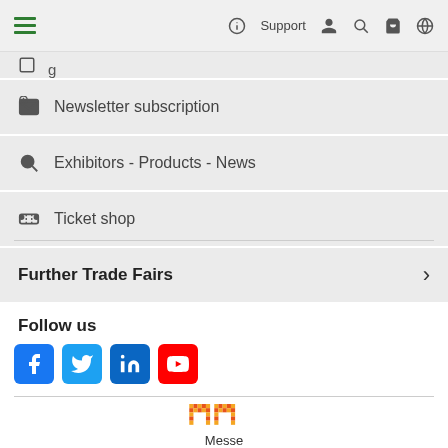Navigation header with hamburger menu, Support, and icons
Newsletter subscription
Exhibitors - Products - News
Ticket shop
Further Trade Fairs
Follow us
[Figure (logo): Social media icons: Facebook, Twitter, LinkedIn, YouTube]
[Figure (logo): Messe logo - pixelated orange/red 'm' letters with text 'Messe' below]